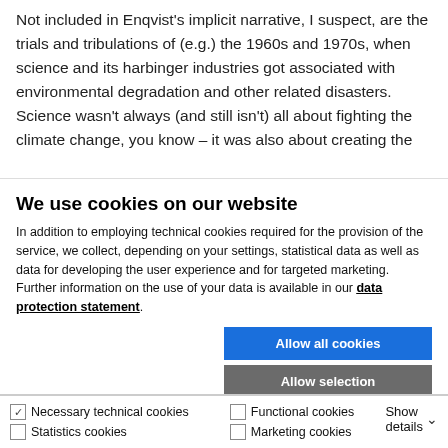Not included in Enqvist's implicit narrative, I suspect, are the trials and tribulations of (e.g.) the 1960s and 1970s, when science and its harbinger industries got associated with environmental degradation and other related disasters. Science wasn't always (and still isn't) all about fighting the climate change, you know – it was also about creating the
We use cookies on our website
In addition to employing technical cookies required for the provision of the service, we collect, depending on your settings, statistical data as well as data for developing the user experience and for targeted marketing. Further information on the use of your data is available in our data protection statement.
Allow all cookies
Allow selection
Use necessary cookies only
Necessary technical cookies | Functional cookies | Statistics cookies | Marketing cookies | Show details